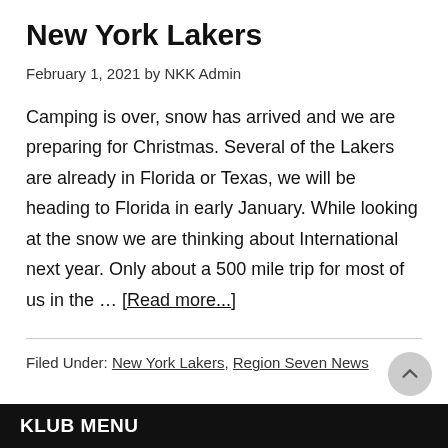New York Lakers
February 1, 2021 by NKK Admin
Camping is over, snow has arrived and we are preparing for Christmas. Several of the Lakers are already in Florida or Texas, we will be heading to Florida in early January. While looking at the snow we are thinking about International next year. Only about a 500 mile trip for most of us in the … [Read more...]
Filed Under: New York Lakers, Region Seven News
KLUB MENU